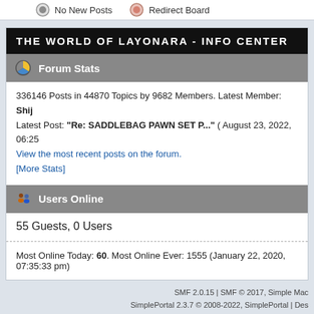No New Posts   Redirect Board
THE WORLD OF LAYONARA - INFO CENTER
Forum Stats
336146 Posts in 44870 Topics by 9682 Members. Latest Member: Shij
Latest Post: "Re: SADDLEBAG PAWN SET P..." ( August 23, 2022, 06:25
View the most recent posts on the forum.
[More Stats]
Users Online
55 Guests, 0 Users
Most Online Today: 60. Most Online Ever: 1555 (January 22, 2020, 07:35:33 pm)
SMF 2.0.15 | SMF © 2017, Simple Mac
SimplePortal 2.3.7 © 2008-2022, SimplePortal | Des
XHTML   RSS   WAP2